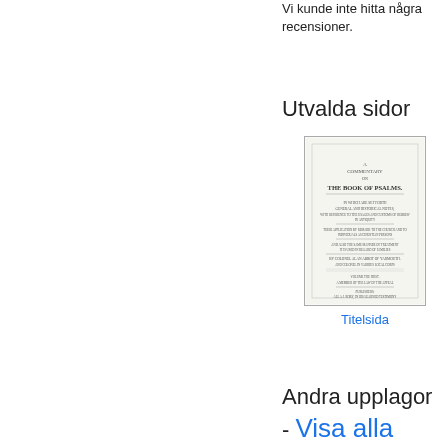Vi kunde inte hitta några recensioner.
Utvalda sidor
[Figure (illustration): Thumbnail image of a book title page: A Commentary on the Book of Psalms]
Titelsida
Andra upplagor - Visa alla
[Figure (illustration): Small thumbnail of book cover]
A Commentary on the Book of Psalms. In which Their Literal O...